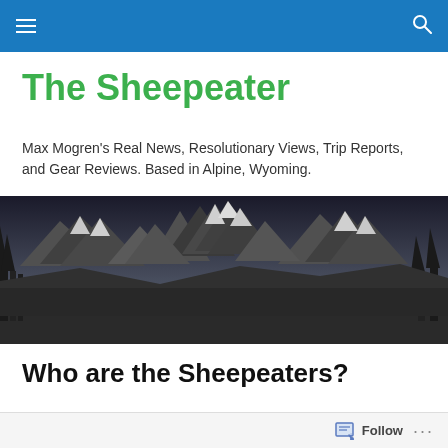The Sheepeater
Max Mogren's Real News, Resolutionary Views, Trip Reports, and Gear Reviews. Based in Alpine, Wyoming.
[Figure (photo): Black and white panoramic photograph of mountain peaks (Grand Teton range), with trees visible at left and right edges and a dramatic sky above.]
Who are the Sheepeaters?
The Sheepeater (Tuka Dika) tribe of the Shoshone-Bannock lived sustainably for at least 11,000 years in the
Follow ...